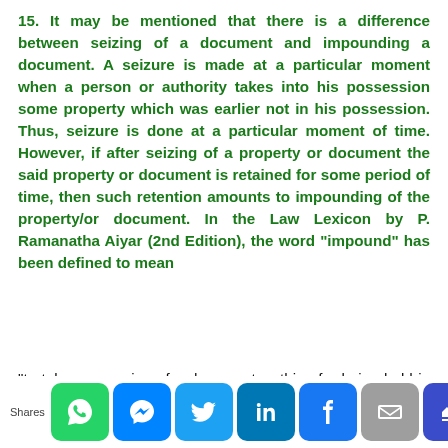15. It may be mentioned that there is a difference between seizing of a document and impounding a document. A seizure is made at a particular moment when a person or authority takes into his possession some property which was earlier not in his possession. Thus, seizure is done at a particular moment of time. However, if after seizing of a property or document the said property or document is retained for some period of time, then such retention amounts to impounding of the property/or document. In the Law Lexicon by P. Ramanatha Aiyar (2nd Edition), the word "impound" has been defined to mean
"to take possession of a document or thing for being held in custody in accordance with law".